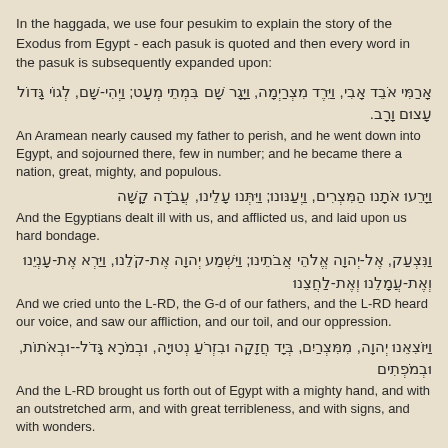In the haggada, we use four pesukim to explain the story of the Exodus from Egypt - each pasuk is quoted and then every word in the pasuk is subsequently expanded upon:
אָרַמִּי אֹבֵד אָבִי, וַיֵּרֶד מִצְרַיְמָה, וַיָּגָר שָׁם בִּמְתֵי מְעָט; וַיְהִי-שָׁם, לְגוֹי גָּדוֹל עָצוּם וָרָב.
An Aramean nearly caused my father to perish, and he went down into Egypt, and sojourned there, few in number; and he became there a nation, great, mighty, and populous.
וַיָּרֵעוּ אֹתָנוּ הַמִּצְרִים, וַיְעַנּוּנוּ; וַיִּתְּנוּ עָלֵינוּ, עֲבֹדָה קָשָׁה
And the Egyptians dealt ill with us, and afflicted us, and laid upon us hard bondage.
וַנִּצְעַק, אֶל-יְהוָה אֱלֹהֵי אֲבֹתֵינוּ; וַיִּשְׁמַע יְהוָה אֶת-קֹלֵנוּ, וַיַּרְא אֶת-עָנְיֵנוּ וְאֶת-עֲמָלֵנוּ וְאֶת-לַחֲצֵנוּ
And we cried unto the L-RD, the G-d of our fathers, and the L-RD heard our voice, and saw our affliction, and our toil, and our oppression.
וַיּוֹצִאֵנוּ יְהוָה, מִמִּצְרַיִם, בְּיָד חֲזָקָה וּבִזְרֹעַ נְטוּיָה, וּבְמֹרָא גָּדֹל--וּבְאֹתוֹת, וּבְמֹפְתִים
And the L-RD brought us forth out of Egypt with a mighty hand, and with an outstretched arm, and with great terribleness, and with signs, and with wonders.